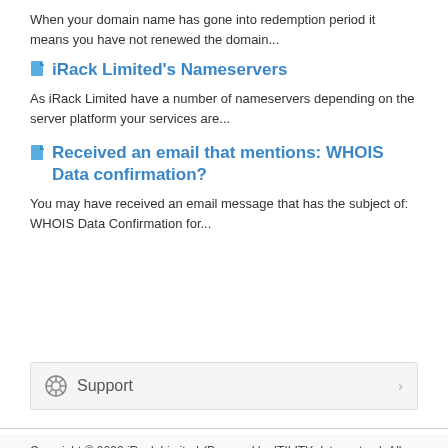When your domain name has gone into redemption period it means you have not renewed the domain...
iRack Limited's Nameservers
As iRack Limited have a number of nameservers depending on the server platform your services are...
Received an email that mentions: WHOIS Data confirmation?
You may have received an email message that has the subject of: WHOIS Data Confirmation for...
Support
Copyright © 2022 iRack Limited (Powered by ITILITY datacentres). All Rights Reserved. Registered in England and Wales with No: 08992383 at: Elizabeth House Victoria Street, Openshaw, Manchester, M11 2NX